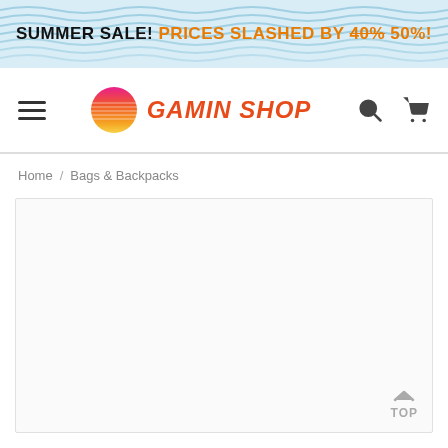SUMMER SALE! PRICES SLASHED BY 40% 50%!
[Figure (logo): Gamin Shop logo with hamburger menu, retro sunset circle logo icon, GAMIN SHOP text in orange italic, search icon and cart icon]
Home / Bags & Backpacks
[Figure (screenshot): Empty content area for Bags & Backpacks product listing page]
TOP